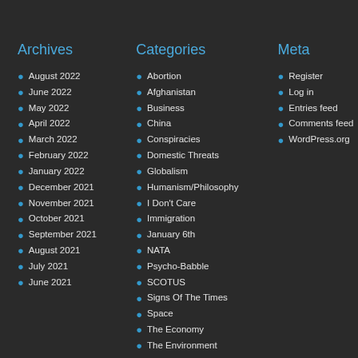Archives
August 2022
June 2022
May 2022
April 2022
March 2022
February 2022
January 2022
December 2021
November 2021
October 2021
September 2021
August 2021
July 2021
June 2021
Categories
Abortion
Afghanistan
Business
China
Conspiracies
Domestic Threats
Globalism
Humanism/Philosophy
I Don't Care
Immigration
January 6th
NATA
Psycho-Babble
SCOTUS
Signs Of The Times
Space
The Economy
The Environment
The Final Frontier
The Middle East
The Military
The Pandemic
Meta
Register
Log in
Entries feed
Comments feed
WordPress.org